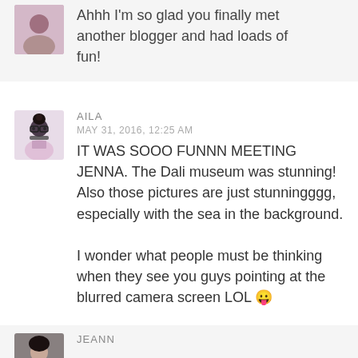Ahhh I'm so glad you finally met another blogger and had loads of fun!
AILA
MAY 31, 2016, 12:25 AM
IT WAS SOOO FUNNN MEETING JENNA. The Dali museum was stunning! Also those pictures are just stunningggg, especially with the sea in the background.

I wonder what people must be thinking when they see you guys pointing at the blurred camera screen LOL 😛
JEANN